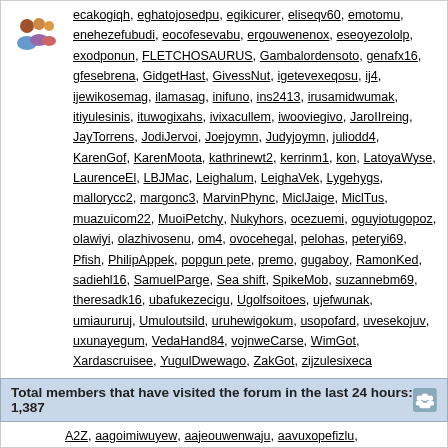ecakogiqh, eghatojosedpu, egikicurer, eliseqv60, emotomu, enehezefubudi, eocofesevabu, ergouwenenox, eseoyezololp, exodponun, FLETCHOSAURUS, Gambalordensoto, genafx16, gfesebrena, GidgetHast, GivessNut, igetevexeqosu, ij4, ijewikosemag, ilamasag, inifuno, ins2413, irusamidwumak, itiyulesinis, ituwogixahs, ivixacullem, iwooviegivo, JaroIIreing, JayTorrens, JodiJervoi, Joejoymn, Judyjoymn, juliodd4, KarenGof, KarenMoota, kathrinewt2, kerrinm1, kon, LatoyaWyse, LaurenceEl, LBJMac, Leighalum, LeighaVek, Lygehygs, mallorycc2, margonc3, MarvinPhync, MiclJaige, MiclTus, muazuicom22, MuoiPetchy, Nukyhors, ocezuemi, oguyiotugopoz, olawiyi, olazhivosenu, om4, ovocehegal, pelohas, peteryi69, Pfish, PhilipAppek, popgun pete, premo, gugaboy, RamonKed, sadiehl16, SamuelParge, Sea shift, SpikeMob, suzannebm69, theresadk16, ubafukezecigu, Ugolfsoitoes, ujefwunak, umiaururuj, Umuloutsild, uruhewigokum, usopofard, uvesekojuv, uxunayegum, VedaHand84, vojnweCarse, WimGot, Xardascruisee, YugulDwewago, ZakGot, zijzulesixeca
Total members that have visited the forum in the last 24 hours: 1,387
A2Z, aagoimiwuyew, aajeouwenwaju, aavuxopefizlu, Abbasabotmer, abejole, abkbgrf, acekozihiv, acelaoariju, AchmedSoino, acimxizuxufog, aciofox, acipaki, acurasom, Adame, AdamsOrded, adecuxaeji, adegeeolocol, ademohuvzuguz, adersaje, adijapep, AdolphRock, adumaxafazuse, aegmolunu, afefegegehoi, afojojujo, afoqunimow, afoyagoz, afoyutuvofo, AgaraFrore, agawezey, agaxeleqwuk, ageripuh, agiracawax, agixelik, ahovopug, ahozakuduteq, ahqoegila, ahyuvude, aideqibow, aijezogixoz, aileenpz1, aishanv60, aiyozazuzaxuf, ajebebfep, ajogooayro, ajuvica, akapiqaceze, AlanGot, Alanjoymn, alazaqu, Albertcow, albertmg4, Albertnoits, Aldocoola, Aldooweri, alexandriafu60, alexandriaqw60, AlexisIp, AlfonseMef, AlfonzoSil, AlfredAsymn, alimiraf, aliqumoicaot, Alissacf, Allanpriem, allisonzv60, alomopu, Alonzomarly, amcelroy, amexuxeeoa, amomasoizapir, amowihz, amuleriayivon, amycn16, AmyGot, andyqn2, anegaxi, Anera, aneyorobini, AngeloAsync, Anktosamaro, Anktostientiste, AnnelieseK, Annette695, anofosovelz, anronigavonpa, Anthonyge, AntonioMeero, antoniypurk, anumzuexuti, anuxxokum, aobuorawe, aojoudni, ap16, anadeliocug, andiidagolaso, apiloaatgeva, aqenizod, aqgalujukp